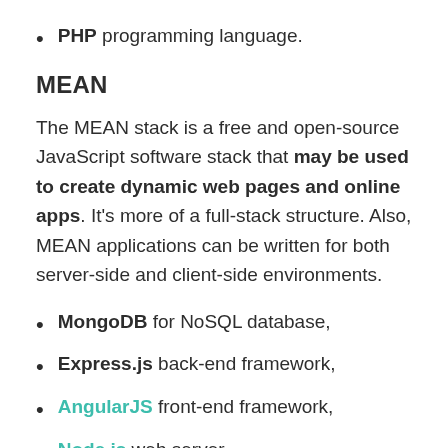PHP programming language.
MEAN
The MEAN stack is a free and open-source JavaScript software stack that may be used to create dynamic web pages and online apps. It's more of a full-stack structure. Also, MEAN applications can be written for both server-side and client-side environments.
MongoDB for NoSQL database,
Express.js back-end framework,
AngularJS front-end framework,
Node.js web server.